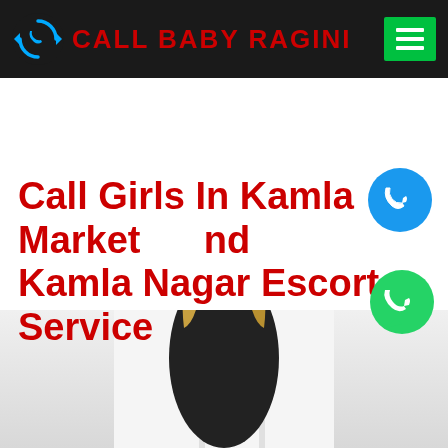CALL BABY RAGINI
Call Girls In Kamla Market And Kamla Nagar Escort Service
[Figure (photo): Young blonde woman photographed from behind/side, looking back over her shoulder, wearing dark top, with window/white background]